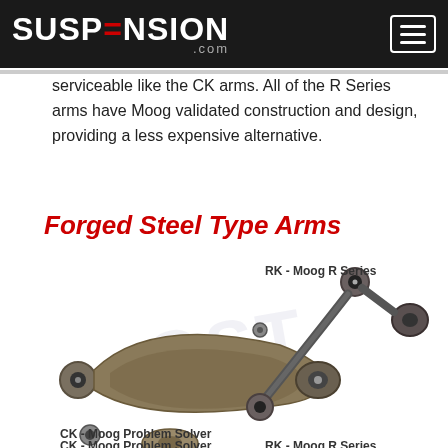SUSPENSION.com
serviceable like the CK arms. All of the R Series arms have Moog validated construction and design, providing a less expensive alternative.
Forged Steel Type Arms
[Figure (photo): Two forged steel type control arms shown: CK - Moog Problem Solver (left, larger arm) and RK - Moog R Series (right, thinner arm). Below partially visible: another CK - Moog Problem Solver and RK - Moog R Series. Watermark 'OST' visible in background.]
CK - Moog Problem Solver
RK - Moog R Series
CK - Moog Problem Solver
RK - Moog R Series